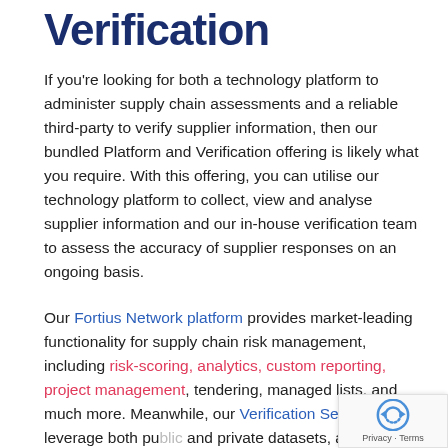Verification
If you're looking for both a technology platform to administer supply chain assessments and a reliable third-party to verify supplier information, then our bundled Platform and Verification offering is likely what you require. With this offering, you can utilise our technology platform to collect, view and analyse supplier information and our in-house verification team to assess the accuracy of supplier responses on an ongoing basis.
Our Fortius Network platform provides market-leading functionality for supply chain risk management, including risk-scoring, analytics, custom reporting, project management, tendering, managed lists, and much more. Meanwhile, our Verification Services leverage both public and private datasets, as well as the expertise of our verification team, to efficiently and accurately verify a range of information and documentation according to